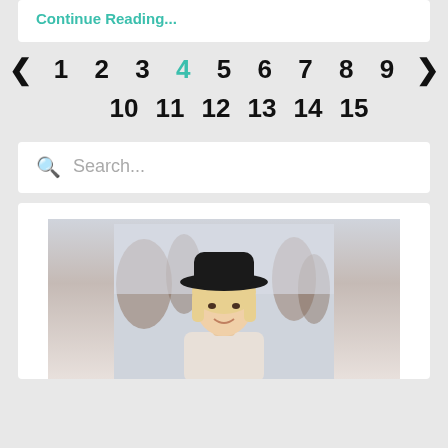Continue Reading...
< 1 2 3 4 5 6 7 8 9 > 10 11 12 13 14 15
Search...
[Figure (photo): Portrait of a woman with blonde hair wearing a black wide-brim hat, smiling, photographed outdoors with bare trees in the background.]